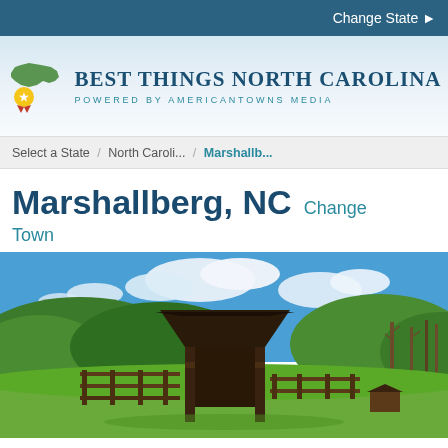Change State ▶
[Figure (logo): Best Things North Carolina logo with NC state shape and award ribbon icon. Text: BEST THINGS NORTH CAROLINA / POWERED BY AMERICANTOWNS MEDIA]
Select a State  /  North Caroli...  /  Marshallb...
Marshallberg, NC Change Town
[Figure (photo): Outdoor photo of a rustic wooden barn/shelter structure in the foreground with a green hillside covered in trees and a blue sky with white clouds in the background. Rural countryside setting in North Carolina.]